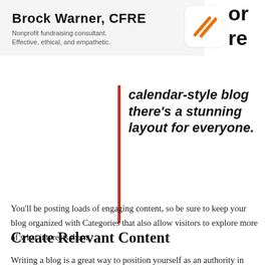Brock Warner, CFRE
Nonprofit fundraising consultant. Effective, ethical, and empathetic.
calendar-style blog there's a stunning layout for everyone.
You'll be posting loads of engaging content, so be sure to keep your blog organized with Categories that also allow visitors to explore more of what interests them.
Create Relevant Content
Writing a blog is a great way to position yourself as an authority in your field and